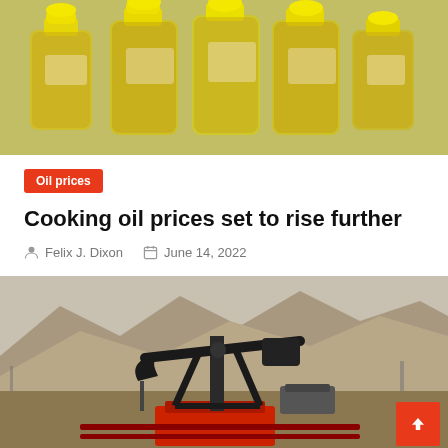[Figure (photo): Multiple yellow-capped clear plastic bottles of cooking/vegetable oil lined up together]
Oil prices
Cooking oil prices set to rise further
Felix J. Dixon  June 14, 2022
[Figure (photo): Oil pump jack (pumpjack) in a desert/arid landscape with mountains in the background, with red machinery at base]